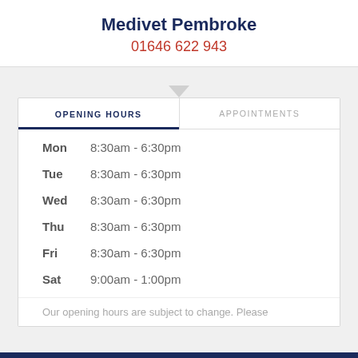Medivet Pembroke
01646 622 943
OPENING HOURS
APPOINTMENTS
| Day | Hours |
| --- | --- |
| Mon | 8:30am - 6:30pm |
| Tue | 8:30am - 6:30pm |
| Wed | 8:30am - 6:30pm |
| Thu | 8:30am - 6:30pm |
| Fri | 8:30am - 6:30pm |
| Sat | 9:00am - 1:00pm |
Our opening hours are subject to change. Please